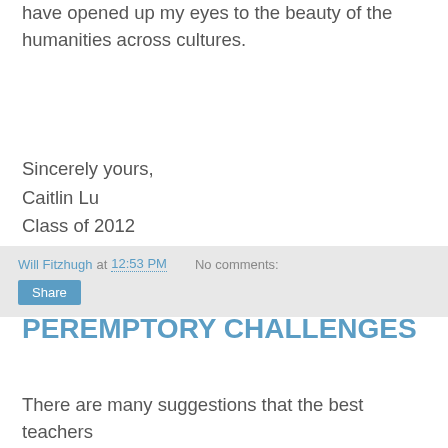have opened up my eyes to the beauty of the humanities across cultures.
Sincerely yours,
Caitlin Lu
Class of 2012
Chinese International School (Hong Kong)
Will Fitzhugh at 12:53 PM   No comments:
Monday, November 15, 2010
PEREMPTORY CHALLENGES
There are many suggestions that the best teachers